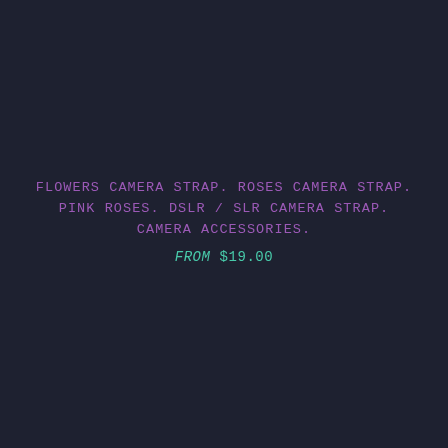FLOWERS CAMERA STRAP. ROSES CAMERA STRAP. PINK ROSES. DSLR / SLR CAMERA STRAP. CAMERA ACCESSORIES.
from $19.00